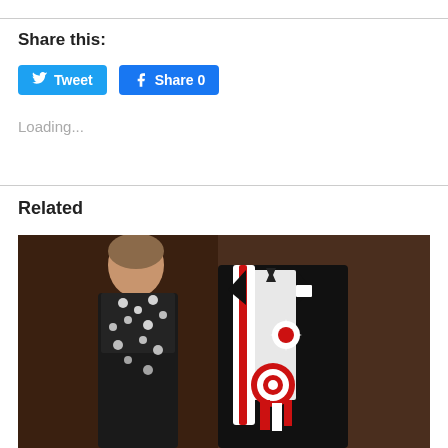Share this:
[Figure (screenshot): Tweet and Facebook Share buttons]
Loading...
Related
[Figure (photo): Formal portrait of a woman in a black floral dress and a man in a black tuxedo with a red and white sash and medals/decorations]